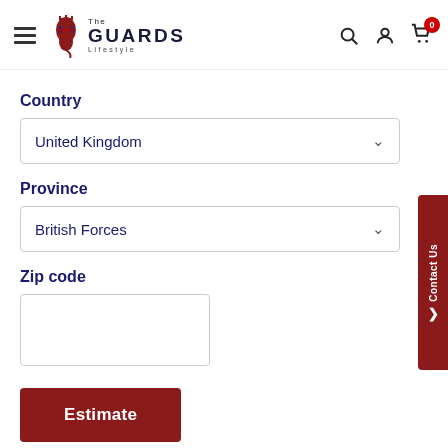[Figure (logo): The Guards Lifestyle logo with red lion and dark navy text]
Country
United Kingdom
Province
British Forces
Zip code
Estimate